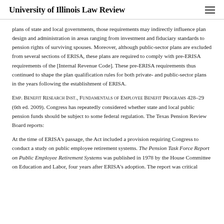University of Illinois Law Review
plans of state and local governments, those requirements may indirectly influence plan design and administration in areas ranging from investment and fiduciary standards to pension rights of surviving spouses. Moreover, although public-sector plans are excluded from several sections of ERISA, these plans are required to comply with pre-ERISA requirements of the [Internal Revenue Code]. These pre-ERISA requirements thus continued to shape the plan qualification rules for both private- and public-sector plans in the years following the establishment of ERISA.
Emp. Benefit Research Inst., Fundamentals of Employee Benefit Programs 428–29 (6th ed. 2009). Congress has repeatedly considered whether state and local public pension funds should be subject to some federal regulation. The Texas Pension Review Board reports:
At the time of ERISA's passage, the Act included a provision requiring Congress to conduct a study on public employee retirement systems. The Pension Task Force Report on Public Employee Retirement Systems was published in 1978 by the House Committee on Education and Labor, four years after ERISA's adoption. The report was critical